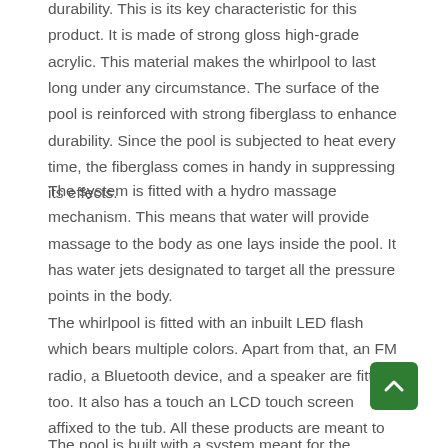durability. This is its key characteristic for this product. It is made of strong gloss high-grade acrylic. This material makes the whirlpool to last long under any circumstance. The surface of the pool is reinforced with strong fiberglass to enhance durability. Since the pool is subjected to heat every time, the fiberglass comes in handy in suppressing its effects.
The system is fitted with a hydro massage mechanism. This means that water will provide massage to the body as one lays inside the pool. It has water jets designated to target all the pressure points in the body.
The whirlpool is fitted with an inbuilt LED flash which bears multiple colors. Apart from that, an FM radio, a Bluetooth device, and a speaker are fitted too. It also has a touch an LCD touch screen affixed to the tub. All these products are meant to provide entertainment while having your body hydro massaged.
The pool is built with a system meant for the shower. Whirlpool...